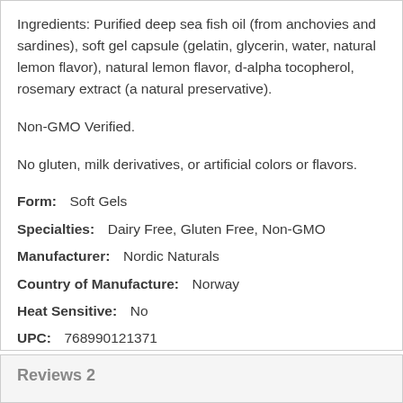Ingredients: Purified deep sea fish oil (from anchovies and sardines), soft gel capsule (gelatin, glycerin, water, natural lemon flavor), natural lemon flavor, d-alpha tocopherol, rosemary extract (a natural preservative).
Non-GMO Verified.
No gluten, milk derivatives, or artificial colors or flavors.
Form:   Soft Gels
Specialties:   Dairy Free, Gluten Free, Non-GMO
Manufacturer:   Nordic Naturals
Country of Manufacture:   Norway
Heat Sensitive:   No
UPC:   768990121371
ASIN:   B01HQPYHDC
Reviews 2